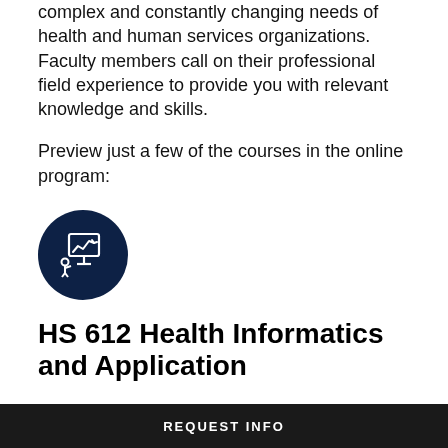complex and constantly changing needs of health and human services organizations. Faculty members call on their professional field experience to provide you with relevant knowledge and skills.
Preview just a few of the courses in the online program:
[Figure (illustration): Dark navy blue circle icon with a whiteboard/presentation screen showing a rising trend line and a person figure, representing an online course or presentation.]
HS 612 Health Informatics and Application
Explore collection and analysis of data to support administrative, operational, financial
REQUEST INFO